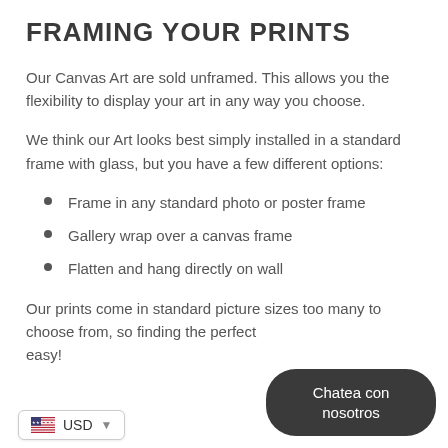FRAMING YOUR PRINTS
Our Canvas Art are sold unframed. This allows you the flexibility to display your art in any way you choose.
We think our Art looks best simply installed in a standard frame with glass, but you have a few different options:
Frame in any standard photo or poster frame
Gallery wrap over a canvas frame
Flatten and hang directly on wall
Our prints come in standard picture sizes too many to choose from, so finding the perfect frame is easy!